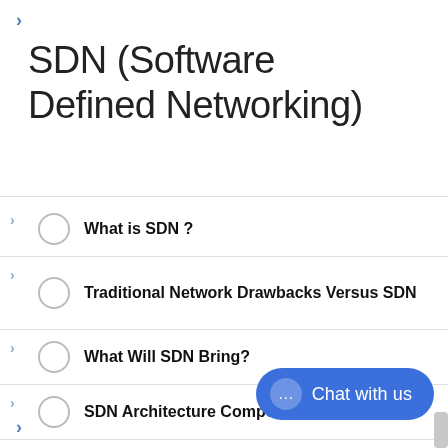SDN (Software Defined Networking)
What is SDN ?
Traditional Network Drawbacks Versus SDN
What Will SDN Bring?
SDN Architecture Components
SDN Terminology